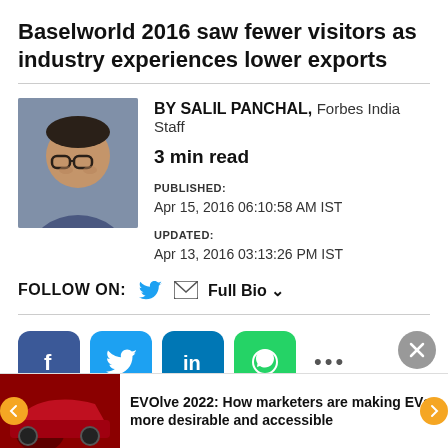Baselworld 2016 saw fewer visitors as industry experiences lower exports
BY SALIL PANCHAL, Forbes India Staff
3 min read
PUBLISHED:
Apr 15, 2016 06:10:58 AM IST
UPDATED:
Apr 13, 2016 03:13:26 PM IST
FOLLOW ON: 🐦 ✉ Full Bio ∨
[Figure (infographic): Social share buttons: Facebook, Twitter, LinkedIn, WhatsApp, more options (…), and close (x) button]
EVOlve 2022: How marketers are making EVs more desirable and accessible